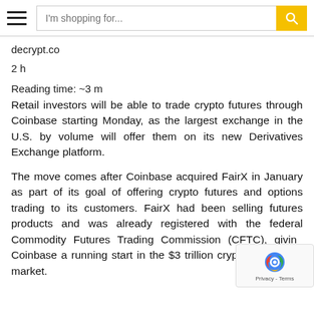I'm shopping for...
decrypt.co
2 h
Reading time: ~3 m
Retail investors will be able to trade crypto futures through Coinbase starting Monday, as the largest exchange in the U.S. by volume will offer them on its new Derivatives Exchange platform.
The move comes after Coinbase acquired FairX in January as part of its goal of offering crypto futures and options trading to its customers. FairX had been selling futures products and was already registered with the federal Commodity Futures Trading Commission (CFTC), giving Coinbase a running start in the $3 trillion crypto derivatives market.